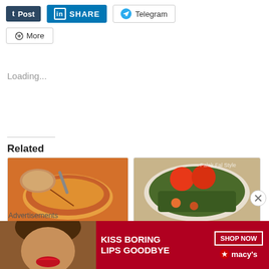[Figure (screenshot): Social share buttons row: Tumblr Post button (dark blue), LinkedIn SHARE button (blue), Telegram button (white with icon)]
[Figure (screenshot): More share button (white with share icon)]
Loading...
Related
[Figure (photo): Food photo: Tangy Urad dal in a bowl with roti]
TANGY URAD
[Figure (photo): Food photo: Fenugreek, Brinjal and potato dry curry with tomatoes on top]
FENUGREEK, BRINJAL and
[Figure (screenshot): Advertisement banner: Kiss Boring Lips Goodbye - Shop Now - Macy's]
Advertisements